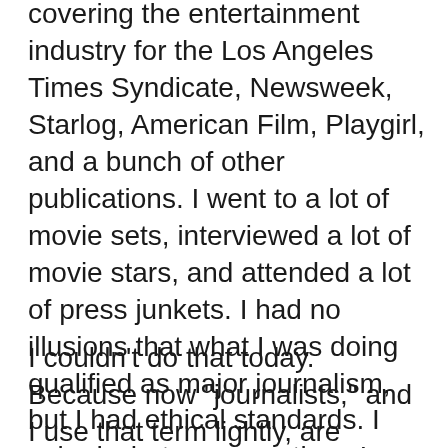covering the entertainment industry for the Los Angeles Times Syndicate, Newsweek, Starlog, American Film, Playgirl, and a bunch of other publications. I went to a lot of movie sets, interviewed a lot of movie stars, and attended a lot of press junkets. I had no illusions that what I was doing qualified as major journalism, but I had ethical standards. I asked whatever questions I wanted to ask, I never let a publicist or studio dictate what I was going to write (even if my employers let them pay my way to distant sets), and I wrote the story I wanted to write.
I couldn't do that today. Because now "journalists," and I use that term lightly, are required to clear their questions with publicists first, as a precondition of...